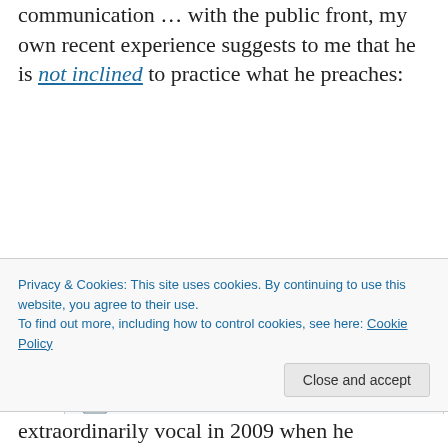communication … with the public front, my own recent experience suggests to me that he is not inclined to practice what he preaches:
[Figure (screenshot): Screenshot of a Twitter exchange. First tweet by JPascal van Ypersele (@JPvanYpersele, Mar 9): 'Leaving Belgium for #climate and #IPCC lectures + official visits in Japan'. Reply by Hilary Ostrov (@hro001): '.@JPvanYpersele And your dreaded "carbon footprint" for this "official" excursion will be?? 1:48 AM - 10 Mar 2015']
Privacy & Cookies: This site uses cookies. By continuing to use this website, you agree to their use. To find out more, including how to control cookies, see here: Cookie Policy
extraordinarily vocal in 2009 when he